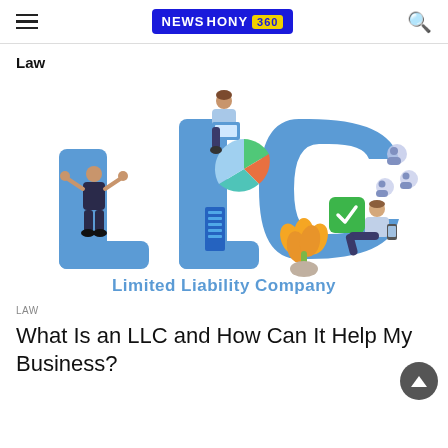NEWSHONY 360
Law
[Figure (illustration): LLC illustration showing large blue letters L, L, C with cartoon business people, a pie chart, a plant, a green checkmark, and people icons. Below the letters reads 'Limited Liability Company' in blue text.]
LAW
What Is an LLC and How Can It Help My Business?